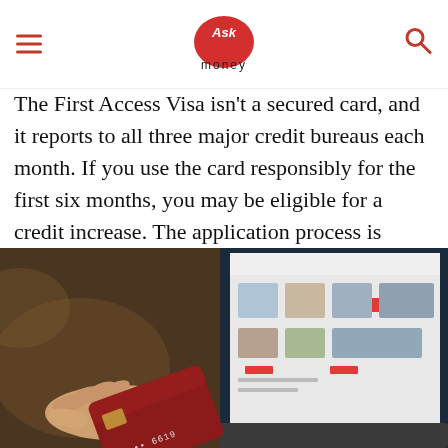Ask money
The First Access Visa isn't a secured card, and it reports to all three major credit bureaus each month. If you use the card responsibly for the first six months, you may be eligible for a credit increase. The application process is quick and easy, and you receive a response within a minute of applying for the card.
[Figure (photo): A hand holding a dark red credit card in front of a laptop screen displaying an online shopping website.]